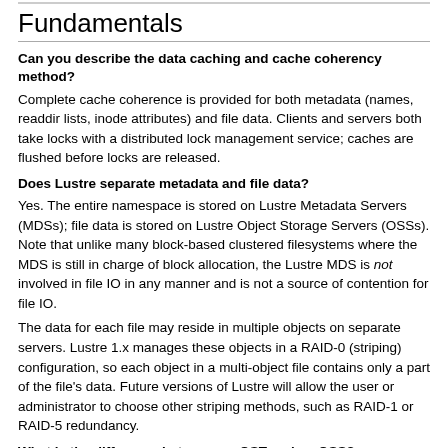Fundamentals
Can you describe the data caching and cache coherency method?
Complete cache coherence is provided for both metadata (names, readdir lists, inode attributes) and file data. Clients and servers both take locks with a distributed lock management service; caches are flushed before locks are released.
Does Lustre separate metadata and file data?
Yes. The entire namespace is stored on Lustre Metadata Servers (MDSs); file data is stored on Lustre Object Storage Servers (OSSs). Note that unlike many block-based clustered filesystems where the MDS is still in charge of block allocation, the Lustre MDS is not involved in file IO in any manner and is not a source of contention for file IO.
The data for each file may reside in multiple objects on separate servers. Lustre 1.x manages these objects in a RAID-0 (striping) configuration, so each object in a multi-object file contains only a part of the file's data. Future versions of Lustre will allow the user or administrator to choose other striping methods, such as RAID-1 or RAID-5 redundancy.
What is the difference between an OST and an OSS?
As the architecture has evolved, we refined these terms.
An Object Storage Server (OSS) is a server node running the Lustre